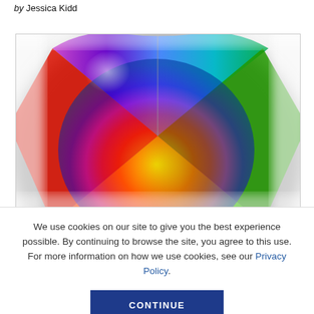by Jessica Kidd
[Figure (photo): A color wheel photo showing blended rainbow colors including red, orange, yellow, green, blue, and purple arranged in a circular disc pattern with gloss/shine effect and blurred edges.]
We use cookies on our site to give you the best experience possible. By continuing to browse the site, you agree to this use. For more information on how we use cookies, see our Privacy Policy.
CONTINUE